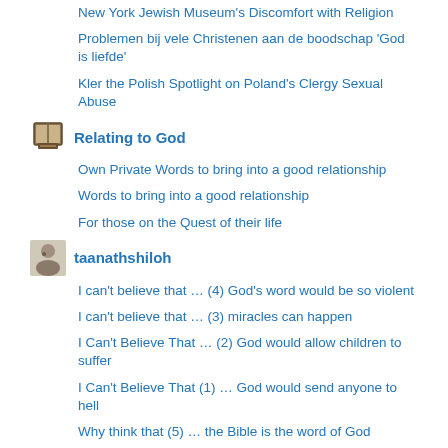New York Jewish Museum's Discomfort with Religion
Problemen bij vele Christenen aan de boodschap 'God is liefde'
Kler the Polish Spotlight on Poland's Clergy Sexual Abuse
Relating to God
Own Private Words to bring into a good relationship
Words to bring into a good relationship
For those on the Quest of their life
taanathshiloh
I can't believe that … (4) God's word would be so violent
I can't believe that … (3) miracles can happen
I Can't Believe That … (2) God would allow children to suffer
I Can't Believe That (1) … God would send anyone to hell
Why think that (5) … the Bible is the word of God
Why think that (4) … God would reveal himself in words
Why think that (3) … Jesus rose from the dead
Posts on the authors their personal sites – Artikelen op de schrijvers hun eigen sites